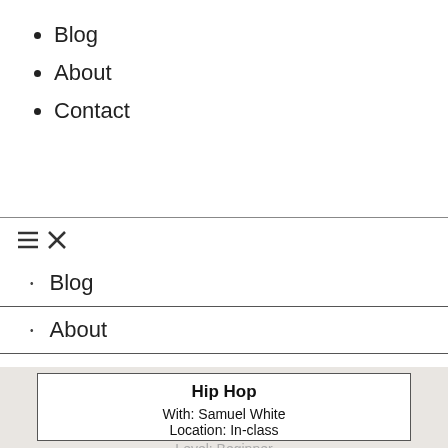Blog
About
Contact
≡ ✕
Blog
About
Contact
| Hip Hop |
| With: Samuel White |
| Location: In-class |
| Level: Beginner |